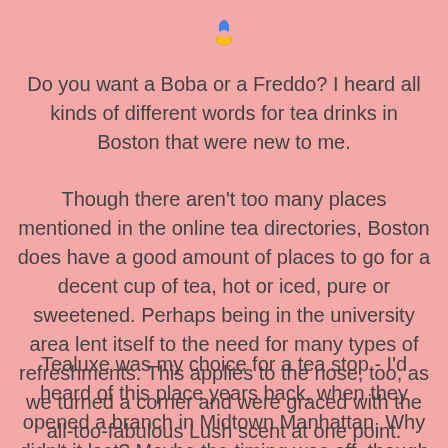[Figure (logo): Small colorful Google Photos-style logo icon at top center]
Do you want a Boba or a Freddo? I heard all kinds of different words for tea drinks in Boston that were new to me.
Though there aren't too many places mentioned in the online tea directories, Boston does have a good amount of places to go for a decent cup of tea, hot or iced, pure or sweetened. Perhaps being in the university area lent itself to the need for many types of refreshments. This applies to the nose, too, as we turned a corner and were graced with the all-too-fabulous Lush scent at one point.
Tealuxe was my choice for a tea stop - I'd heard of this place years back, when they opened a branch in Midtown Manhattan. Why didn't it last? Maybe the timing was off, though it wasn't that long ago. We could sure use a place like that in Astoria (though it's nice to have Panera Bread